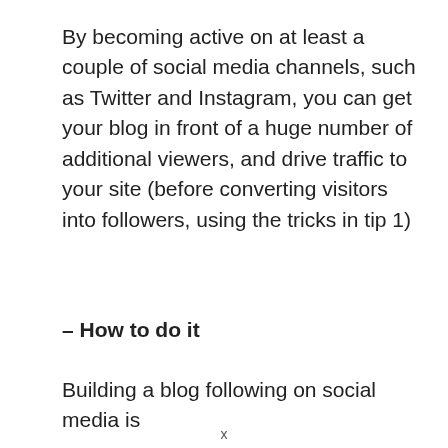By becoming active on at least a couple of social media channels, such as Twitter and Instagram, you can get your blog in front of a huge number of additional viewers, and drive traffic to your site (before converting visitors into followers, using the tricks in tip 1)
– How to do it
Building a blog following on social media is
x